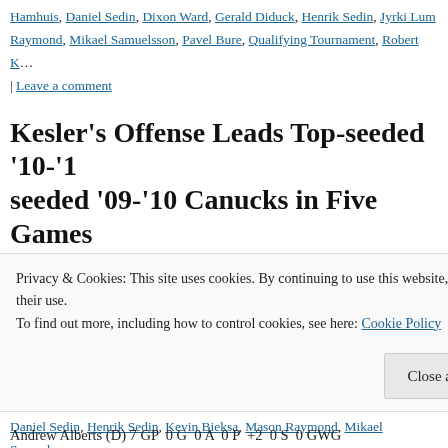Hamhuis, Daniel Sedin, Dixon Ward, Gerald Diduck, Henrik Sedin, Jyrki Lum... Raymond, Mikael Samuelsson, Pavel Bure, Qualifying Tournament, Robert K...
| Leave a comment
Kesler's Offense Leads Top-seeded '10-'11 Canucks over 5th-seeded '09-'10 Canucks in Five Games
Posted on July 31, 2015 by beaker130
Alexandre Burrows took the reigns for the top-seeded '10-'11 Canucks, scoring twice to lead them to a 4-2 win. In Game 2, the 5th-seeded '09-'... 5:19 into the game. … Continue reading →
Posted in Qualifying Tournament, Ultimate NHL Playoff | Tagged Alexander B... Daniel Sedin, Henrik Sedin, Kevin Bieksa, Mason Raymond, Mikael Samuels... Luongo, Ryan Kesler, Ultimate NHL Playoff, Vancouver Canucks | Leave a co...
Privacy & Cookies: This site uses cookies. By continuing to use this website, you agree to their use. To find out more, including how to control cookies, see here: Cookie Policy
Close and accept
Andrew Alberts (D) 7 GP  0 G  0 A  0 P  +2  0 S  0 GWG